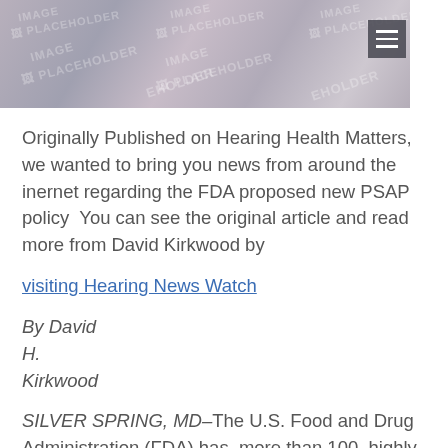[Figure (photo): Blurred placeholder hero image with watermark text 'IMAGE PLACEHOLDER' repeated across a grey-purple gradient background. A hamburger menu icon appears in the top right corner.]
Originally Published on Hearing Health Matters, we wanted to bring you news from around the inernet regarding the FDA proposed new PSAP policy  You can see the original article and read more from David Kirkwood by visiting Hearing News Watch
By David H. Kirkwood
SILVER SPRING, MD–The U.S. Food and Drug Administration (FDA) has  more than 100, highly diverse, public comments